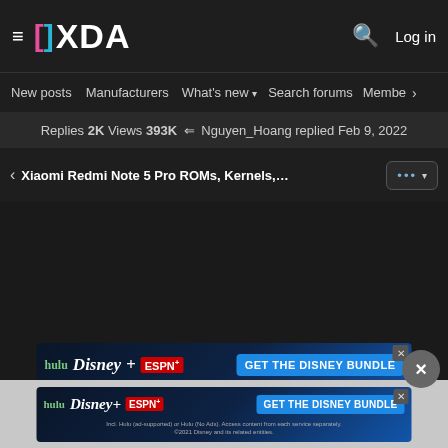XDA Developers - ≡  XDA  🔍  Log in
New posts  Manufacturers  What's new ▾  Search forums  Membe  >
Replies 2K Views 393K ⇐ Nguyen_Hoang replied Feb 9, 2022
< Xiaomi Redmi Note 5 Pro ROMs, Kernels, Recoveries, ... ▾
[Figure (screenshot): Disney Bundle advertisement banner: hulu Disney+ ESPN+ GET THE DISNEY BUNDLE. Incl. Hulu (ad-supported) or Hulu (No Ads). Access content from each service separately. ©2021 Disney and its related entities.]
[Figure (screenshot): Disney Bundle advertisement banner (second instance): hulu Disney+ ESPN+ GET THE DISNEY BUNDLE. Incl. Hulu (ad-supported) or Hulu (No Ads). Access content from each service separately. ©2021 Disney and its related entities.]